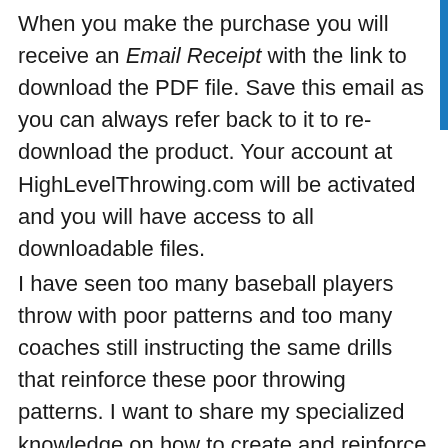When you make the purchase you will receive an Email Receipt with the link to download the PDF file. Save this email as you can always refer back to it to re-download the product. Your account at HighLevelThrowing.com will be activated and you will have access to all downloadable files.
I have seen too many baseball players throw with poor patterns and too many coaches still instructing the same drills that reinforce these poor throwing patterns. I want to share my specialized knowledge on how to create and reinforce the High Level Throwing